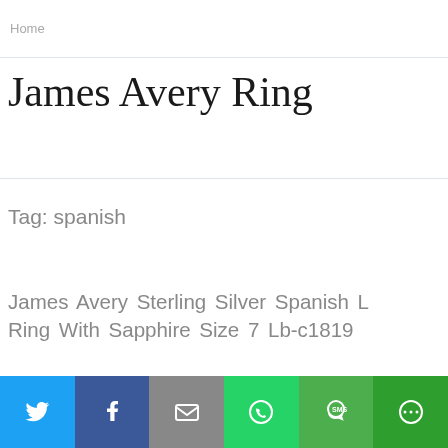Home
James Avery Ring
Tag: spanish
James Avery Sterling Silver Spanish L Ring With Sapphire Size 7 Lb-c1819
[Figure (infographic): Social sharing bar with Twitter, Facebook, Email, WhatsApp, SMS, and More buttons]